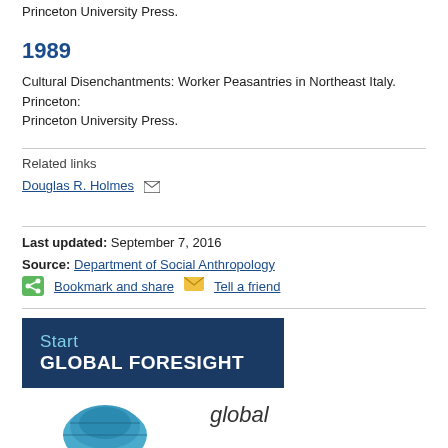Princeton University Press.
1989
Cultural Disenchantments: Worker Peasantries in Northeast Italy. Princeton: Princeton University Press.
Related links
Douglas R. Holmes
Last updated: September 7, 2016
Source: Department of Social Anthropology
Bookmark and share   Tell a friend
[Figure (other): Dark blue banner with text: Start GLOBAL FORESIGHT]
[Figure (other): Bottom section showing a globe graphic and the word 'global' in italic text]